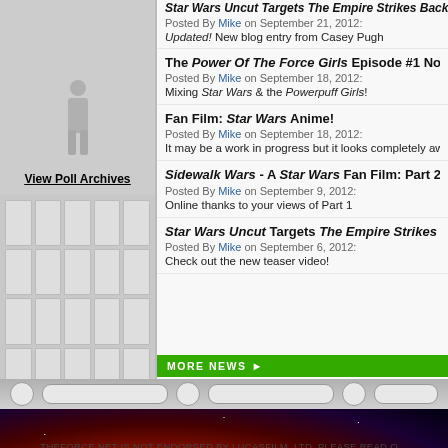[Figure (screenshot): Poll image area with silhouette figure and View Poll Archives link]
View Poll Archives
[Figure (screenshot): Grid panel of light rectangular cells on grey background]
Star Wars Uncut Targets The Empire Strikes Back
Posted By Mike on September 21, 2012:
Updated! New blog entry from Casey Pugh
The Power Of The Force Girls Episode #1 Now Online
Posted By Mike on September 18, 2012:
Mixing Star Wars & the Powerpuff Girls!
Fan Film: Star Wars Anime!
Posted By Mike on September 18, 2012:
It may be a work in progress but it looks completely awes…
Sidewalk Wars - A Star Wars Fan Film: Part 2 of 3
Posted By Mike on September 9, 2012:
Online thanks to your views of Part 1
Star Wars Uncut Targets The Empire Strikes Back
Posted By Mike on September 6, 2012:
Check out the new teaser video!
MORE NEWS ▶
[Figure (screenshot): TheForce.net advertisement banner with logo and EA/TFN branding on space background]
THEFORCE.NET IS NOT ENDORSED BY LUCASFILM, LTD. PLEASE READ O…